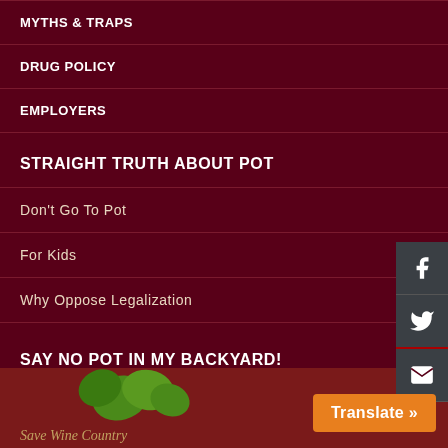MYTHS & TRAPS
DRUG POLICY
EMPLOYERS
STRAIGHT TRUTH ABOUT POT
Don't Go To Pot
For Kids
Why Oppose Legalization
SAY NO POT IN MY BACKYARD!
[Figure (illustration): Save Wine Country logo with green grape leaves on dark red background]
Translate »